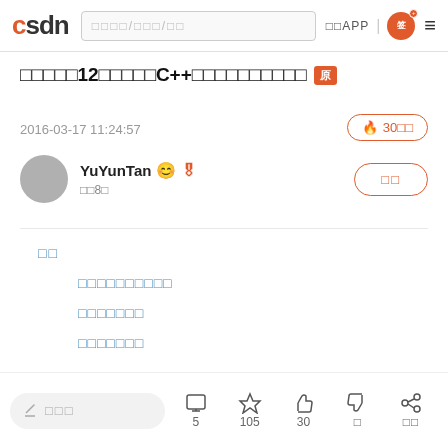CSDN | 搜索/博客/文章 | 下载APP | [icon] | [menu]
【精华】12个C++实用技术详细介绍 [原]
2016-03-17 11:24:57
热度 300万
YuYunTan 积分8万
关注
目录
C++实用技术详细介绍之一
C++实用技术之二
C++实用技术之三
评论 5 | 收藏 105 | 点赞 30 | 踩 0 | 分享